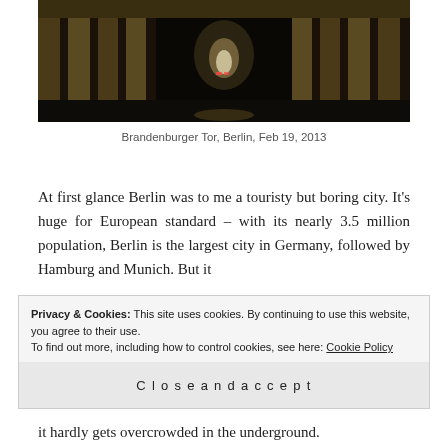[Figure (photo): Night photograph of Brandenburger Tor (Brandenburg Gate) in Berlin, illuminated columns visible in the dark, wet reflective ground]
Brandenburger Tor, Berlin, Feb 19, 2013
At first glance Berlin was to me a touristy but boring city. It’s huge for European standard – with its nearly 3.5 million population, Berlin is the largest city in Germany, followed by Hamburg and Munich. But it
Privacy & Cookies: This site uses cookies. By continuing to use this website, you agree to their use.
To find out more, including how to control cookies, see here: Cookie Policy
[Close and accept]
it hardly gets overcrowded in the underground.